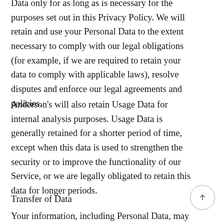Data only for as long as is necessary for the purposes set out in this Privacy Policy. We will retain and use your Personal Data to the extent necessary to comply with our legal obligations (for example, if we are required to retain your data to comply with applicable laws), resolve disputes and enforce our legal agreements and policies.
Anderson's will also retain Usage Data for internal analysis purposes. Usage Data is generally retained for a shorter period of time, except when this data is used to strengthen the security or to improve the functionality of our Service, or we are legally obligated to retain this data for longer periods.
Transfer of Data
Your information, including Personal Data, may be transferred to — and